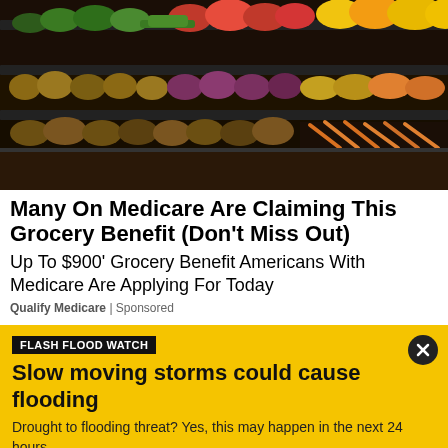[Figure (photo): Photo of a grocery store produce aisle with colorful vegetables and fruits on display shelves, including peppers, potatoes, carrots, green beans, and other produce.]
Many On Medicare Are Claiming This Grocery Benefit (Don't Miss Out)
Up To $900' Grocery Benefit Americans With Medicare Are Applying For Today
Qualify Medicare | Sponsored
FLASH FLOOD WATCH
Slow moving storms could cause flooding
Drought to flooding threat? Yes, this may happen in the next 24 hours.